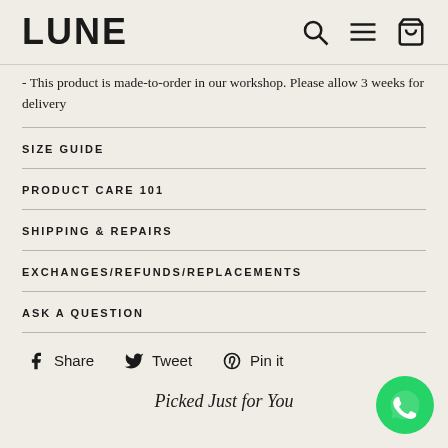LUNE
- This product is made-to-order in our workshop. Please allow 3 weeks for delivery
SIZE GUIDE
PRODUCT CARE 101
SHIPPING & REPAIRS
EXCHANGES/REFUNDS/REPLACEMENTS
ASK A QUESTION
Share  Tweet  Pin it
Picked Just for You